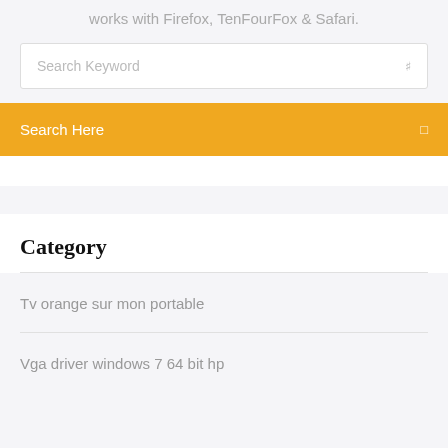works with Firefox, TenFourFox & Safari.
[Figure (screenshot): Search keyword input field with a search icon on the right]
[Figure (screenshot): Orange search bar with text 'Search Here' and a small icon on the right]
Category
Tv orange sur mon portable
Vga driver windows 7 64 bit hp